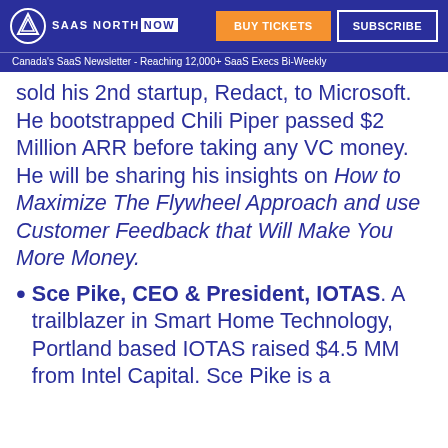SAAS NORTH NOW | BUY TICKETS | SUBSCRIBE
Canada's SaaS Newsletter - Reaching 12,000+ SaaS Execs Bi-Weekly
sold his 2nd startup, Redact, to Microsoft. He bootstrapped Chili Piper passed $2 Million ARR before taking any VC money. He will be sharing his insights on How to Maximize The Flywheel Approach and use Customer Feedback that Will Make You More Money.
Sce Pike, CEO & President, IOTAS. A trailblazer in Smart Home Technology, Portland based IOTAS raised $4.5 MM from Intel Capital. Sce Pike is a